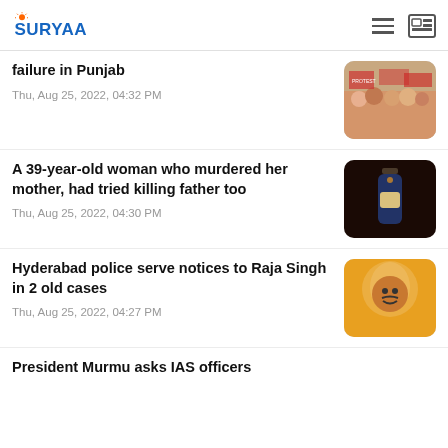SURYAA
failure in Punjab
Thu, Aug 25, 2022, 04:32 PM
A 39-year-old woman who murdered her mother, had tried killing father too
Thu, Aug 25, 2022, 04:30 PM
Hyderabad police serve notices to Raja Singh in 2 old cases
Thu, Aug 25, 2022, 04:27 PM
President Murmu asks IAS officers